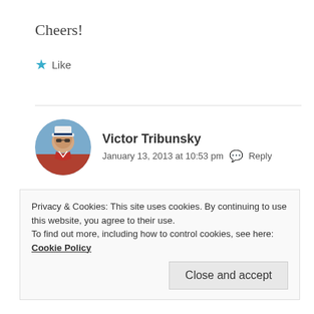Cheers!
★ Like
[Figure (photo): Circular avatar photo of Victor Tribunsky wearing a white captain's hat and red shirt]
Victor Tribunsky
January 13, 2013 at 10:53 pm  💬 Reply
Thank you. I'll be waiting for your future posts about Nepal.
Privacy & Cookies: This site uses cookies. By continuing to use this website, you agree to their use.
To find out more, including how to control cookies, see here: Cookie Policy
Close and accept